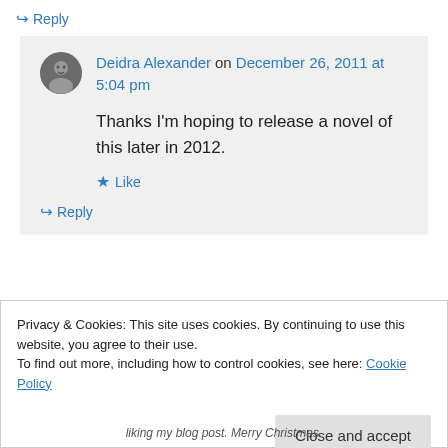↪ Reply
Deidra Alexander on December 26, 2011 at 5:04 pm
Thanks I'm hoping to release a novel of this later in 2012.
★ Like
↪ Reply
Privacy & Cookies: This site uses cookies. By continuing to use this website, you agree to their use. To find out more, including how to control cookies, see here: Cookie Policy
Close and accept
liking my blog post. Merry Christmas.